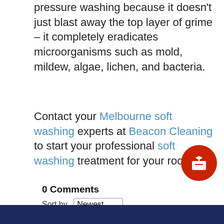pressure washing because it doesn't just blast away the top layer of grime – it completely eradicates microorganisms such as mold, mildew, algae, lichen, and bacteria.
Contact your Melbourne soft washing experts at Beacon Cleaning to start your professional soft washing treatment for your roof!
0 Comments
Sort by Newest
[Figure (screenshot): Comment text area with placeholder text 'Add a comment...' and a Facebook Comments Plugin row below]